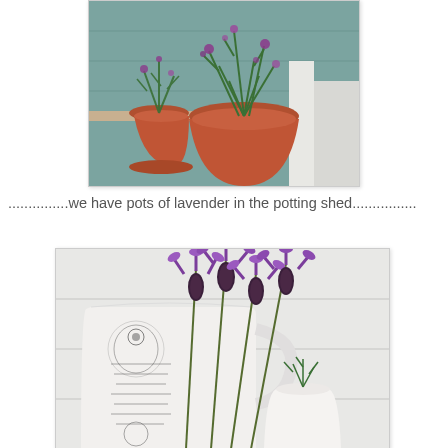[Figure (photo): Terracotta pots with purple lavender plants on a shelf in a potting shed, with a white wooden structure visible in the background.]
...............we have pots of lavender in the potting shed................
[Figure (photo): Close-up of purple lavender blooms (Spanish lavender with distinctive petals) arranged in white ceramic vessels with French script and floral motifs, against a white panelled background.]